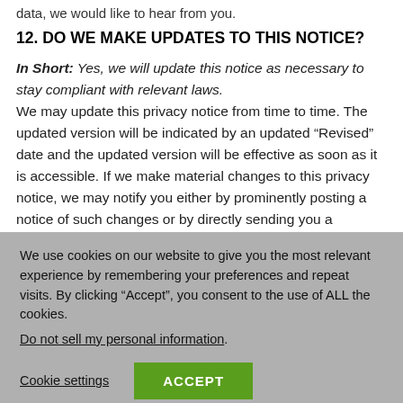data, we would like to hear from you.
12. DO WE MAKE UPDATES TO THIS NOTICE?
In Short: Yes, we will update this notice as necessary to stay compliant with relevant laws. We may update this privacy notice from time to time. The updated version will be indicated by an updated “Revised” date and the updated version will be effective as soon as it is accessible. If we make material changes to this privacy notice, we may notify you either by prominently posting a notice of such changes or by directly sending you a
We use cookies on our website to give you the most relevant experience by remembering your preferences and repeat visits. By clicking “Accept”, you consent to the use of ALL the cookies. Do not sell my personal information.
Cookie settings
ACCEPT